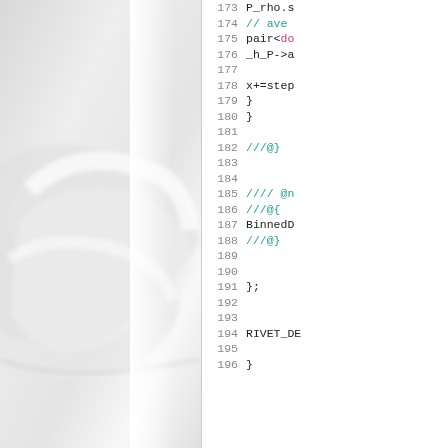[Figure (photo): A photograph of a white/light gray plastic or fabric rivet/fastener component shot at close range, partially shown on the left side of the page, fading into white background.]
Code panel showing C++ source lines 173-196 including: P_rho.s (173), // ave... (174), pair<do... (175), _h_P->a... (176), blank (177), x+=step (178), } (179), } (180), blank (181), ///@} (182), blank (183), blank (184), //// @n... (185), ///@{ (186), BinnedD... (187), ///@} (188), blank (189), blank (190), }; (191), blank (192), blank (193), RIVET_DE... (194), blank (195), } (196)